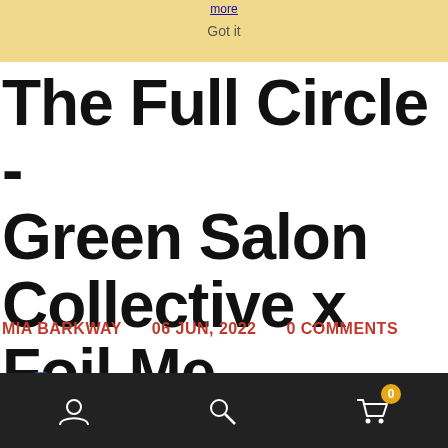more
Got it
The Full Circle - Green Salon Collective x Foil Me
MIA BARKWAY   06 JUN, 2022   0 COMMENTS
[Figure (other): Facebook share button (blue circle with 'f' icon)]
[Figure (other): Partially visible social share button (blue, likely Twitter)]
Account icon   Search icon   Cart icon (0)